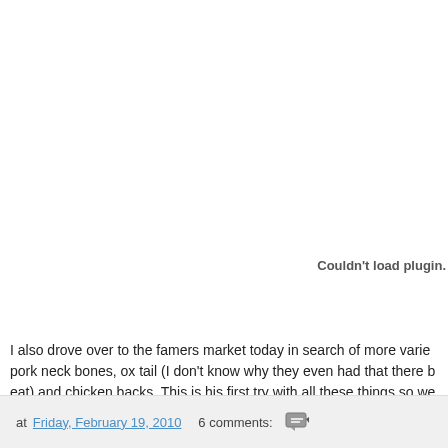[Figure (other): Plugin area that failed to load, showing 'Couldn't load plugin.' error message in the upper right portion of the white area]
I also drove over to the famers market today in search of more varie pork neck bones, ox tail (I don't know why they even had that there b eat) and chicken backs. This is his first try with all these things so we
at Friday, February 19, 2010   6 comments: